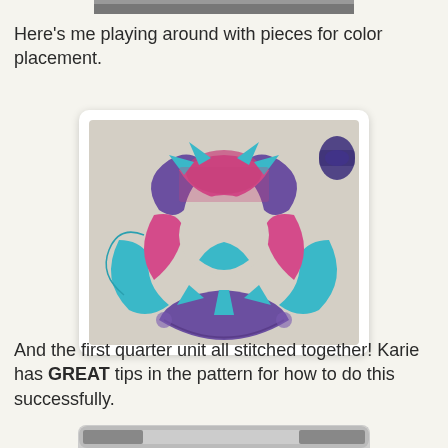[Figure (photo): Cropped top edge of a photo showing a dark image strip]
Here's me playing around with pieces for color placement.
[Figure (photo): Photo of colorful quilt fabric pieces arranged on a white surface, showing teal/blue, pink/magenta, and purple patterned fabric cut into curved and pointed shapes forming a circular medallion quilt block design. Some spools of thread visible in the top right corner.]
And the first quarter unit all stitched together!  Karie has GREAT tips in the pattern for how to do this successfully.
[Figure (photo): Bottom strip of another photo partially visible at the bottom of the page]